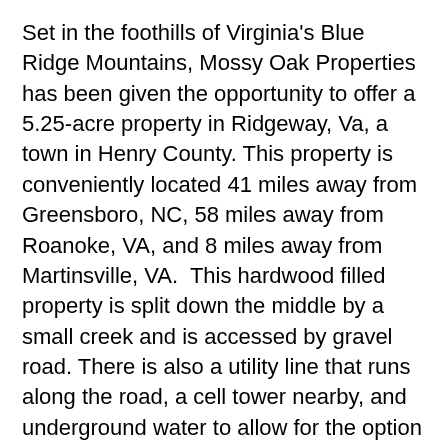Set in the foothills of Virginia's Blue Ridge Mountains, Mossy Oak Properties has been given the opportunity to offer a 5.25-acre property in Ridgeway, Va, a town in Henry County. This property is conveniently located 41 miles away from Greensboro, NC, 58 miles away from Roanoke, VA, and 8 miles away from Martinsville, VA.  This hardwood filled property is split down the middle by a small creek and is accessed by gravel road. There is also a utility line that runs along the road, a cell tower nearby, and underground water to allow for the option to build a home or a cozy cabin getaway for the family.
Ridgeway is also located 28 miles from Philpott Lake, making this property the ideal spot to enjoy camping in the serenity of your own land, or take a short drive to the lake for a quick fishing trip. Also, if you were looking to find more ways to experience the beauty of Henry County, it is home to countless trails for hiking and more than 20 park facilities offering recreational programs for all ages.
If you love watching NASCAR and have been looking for a way to get closer to the action, this is the